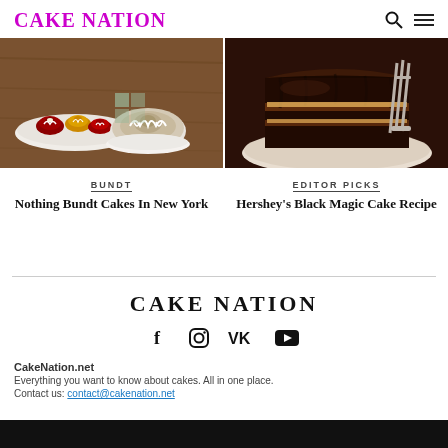CAKE NATION
[Figure (photo): Nothing Bundt Cakes - colorful mini bundt cakes and a large bundt cake on plates on a wooden surface]
BUNDT
Nothing Bundt Cakes In New York
[Figure (photo): Slice of Hershey's Black Magic chocolate cake on a plate with a fork]
EDITOR PICKS
Hershey's Black Magic Cake Recipe
CAKE NATION
[Figure (other): Social media icons: Facebook, Instagram, VK, YouTube]
CakeNation.net
Everything you want to know about cakes. All in one place.
Contact us: contact@cakenation.net